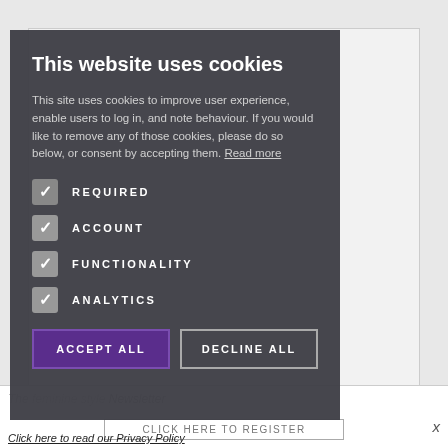[Figure (screenshot): Background of a webpage showing a dark-coated figure and a light gray layout. A cookie consent modal overlay appears prominently.]
This website uses cookies
This site uses cookies to improve user experience, enable users to log in, and note behaviour. If you would like to remove any of those cookies, please do so below, or consent by accepting them. Read more
REQUIRED
ACCOUNT
FUNCTIONALITY
ANALYTICS
ACCEPT ALL
DECLINE ALL
Click here to read our Privacy Policy